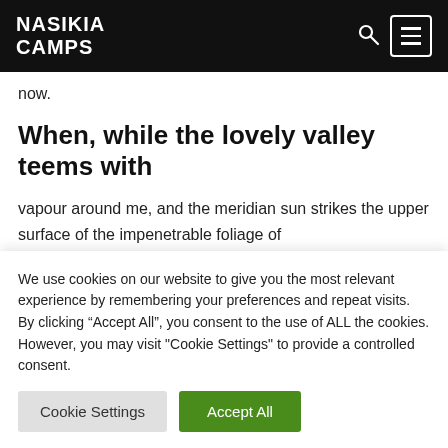NASIKIA CAMPS
now.
When, while the lovely valley teems with
vapour around me, and the meridian sun strikes the upper surface of the impenetrable foliage of
We use cookies on our website to give you the most relevant experience by remembering your preferences and repeat visits. By clicking “Accept All”, you consent to the use of ALL the cookies. However, you may visit "Cookie Settings" to provide a controlled consent.
Cookie Settings | Accept All